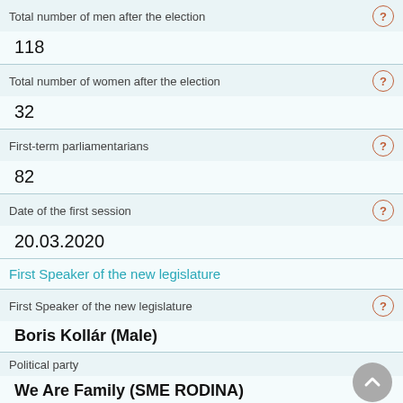Total number of men after the election
118
Total number of women after the election
32
First-term parliamentarians
82
Date of the first session
20.03.2020
First Speaker of the new legislature
First Speaker of the new legislature
Boris Kollár (Male)
Political party
We Are Family (SME RODINA)
Date of election